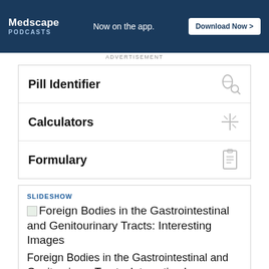[Figure (other): Medscape Podcasts advertisement banner: dark blue background with Medscape logo, 'Now on the app.' text, and 'Download Now >' button]
ADVERTISEMENT
Pill Identifier
Calculators
Formulary
SLIDESHOW
Foreign Bodies in the Gastrointestinal and Genitourinary Tracts: Interesting Images
Foreign Bodies in the Gastrointestinal and Genitourinary Tracts: Interesting Images